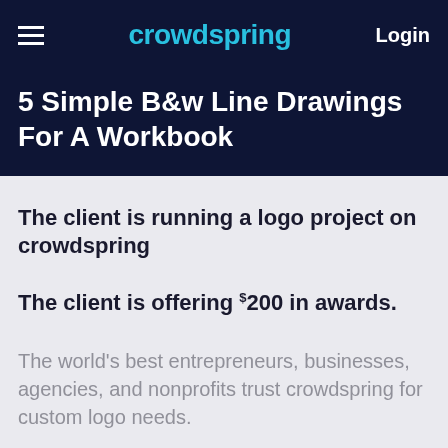crowdspring  Login
5 Simple B&w Line Drawings For A Workbook
The client is running a logo project on crowdspring
The client is offering $200 in awards.
The world's best entrepreneurs, businesses, agencies, and nonprofits trust crowdspring for custom logo needs.